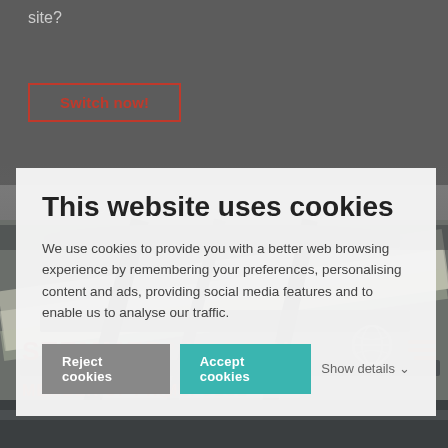[Figure (screenshot): Printing press machine in background with gray overlay at top]
site?
Switch now!
Choose your country
STEMMER IMAGING®
MEMBER OF PRIMEPULSE
This website uses cookies
We use cookies to provide you with a better web browsing experience by remembering your preferences, personalising content and ads, providing social media features and to enable us to analyse our traffic.
Reject cookies
Accept cookies
Show details